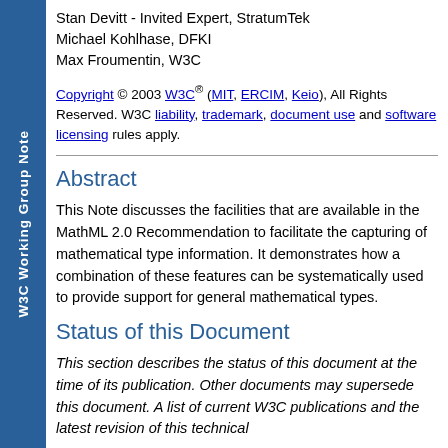W3C Working Group Note
Stan Devitt - Invited Expert, StratumTek
Michael Kohlhase, DFKI
Max Froumentin, W3C
Copyright © 2003 W3C® (MIT, ERCIM, Keio), All Rights Reserved. W3C liability, trademark, document use and software licensing rules apply.
Abstract
This Note discusses the facilities that are available in the MathML 2.0 Recommendation to facilitate the capturing of mathematical type information. It demonstrates how a combination of these features can be systematically used to provide support for general mathematical types.
Status of this Document
This section describes the status of this document at the time of its publication. Other documents may supersede this document. A list of current W3C publications and the latest revision of this technical